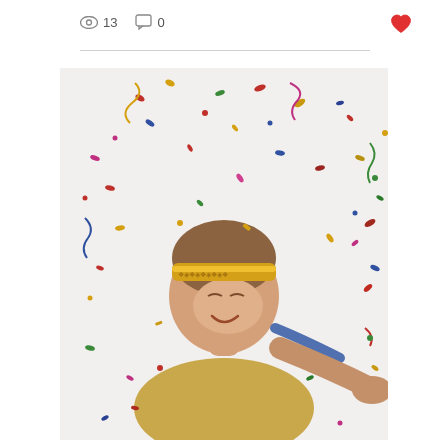👁 13  💬 0  ♥
[Figure (photo): A smiling young woman wearing a gold sequined headband, surrounded by falling colorful confetti against a white background. She is dressed in a gold outfit and reaching one hand toward the camera.]